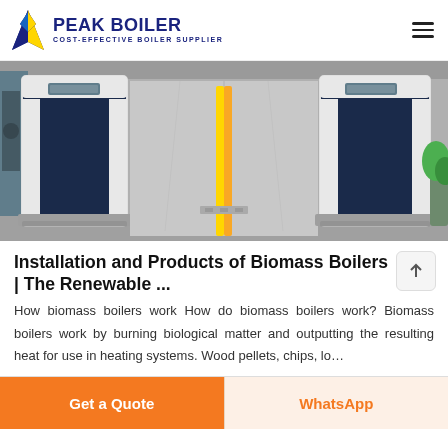PEAK BOILER — COST-EFFECTIVE BOILER SUPPLIER
[Figure (photo): Interior photo of industrial biomass boiler installation showing two large dark-blue and white boiler units side by side in a facility hall]
Installation and Products of Biomass Boilers | The Renewable ...
How biomass boilers work How do biomass boilers work? Biomass boilers work by burning biological matter and outputting the resulting heat for use in heating systems. Wood pellets, chips, lo…